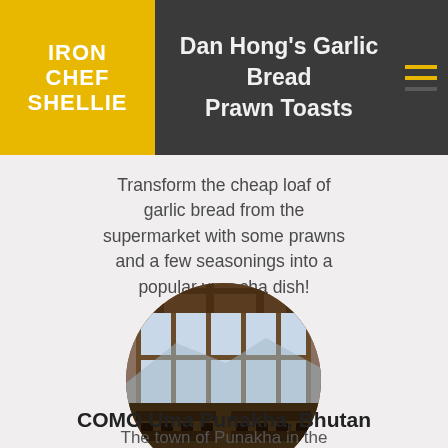IRON CHEF SHELLIE
Dan Hong's Garlic Bread Prawn Toasts
Transform the cheap loaf of garlic bread from the supermarket with some prawns and a few seasonings into a popular yum cha dish!
[Figure (photo): Circular cropped photo of a restaurant interior with tall wooden-framed windows, exposed beam ceiling, and dining tables arranged in rows.]
COMO Uma Punakha, Bhutan
The town of Punakha in the ...